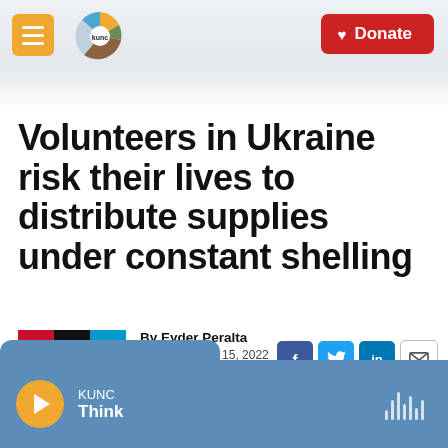KUNC — Donate
Volunteers in Ukraine risk their lives to distribute supplies under constant shelling
By Eyder Peralta
Published May 15, 2022 at 5:58 AM MDT
[Figure (logo): NPR logo with red N, black P, blue R]
[Figure (other): Social sharing buttons: Facebook, Twitter, LinkedIn, Email]
[Figure (other): Audio player bar: KUNC Think, play button, waveform icon]